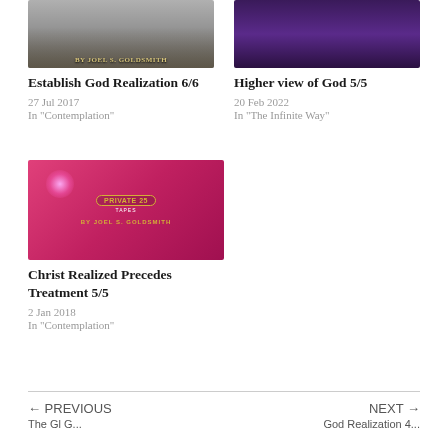[Figure (photo): Thumbnail image with gray gradient background and gold text 'BY JOEL S. GOLDSMITH']
Establish God Realization 6/6
27 Jul 2017
In "Contemplation"
[Figure (photo): Thumbnail image with dark purple gradient background]
Higher view of God 5/5
20 Feb 2022
In "The Infinite Way"
[Figure (photo): Pink/magenta thumbnail with 'PRIVATE 25 TAPES' badge and 'BY JOEL S. GOLDSMITH' text, glowing light effect]
Christ Realized Precedes Treatment 5/5
2 Jan 2018
In "Contemplation"
← PREVIOUS | NEXT →